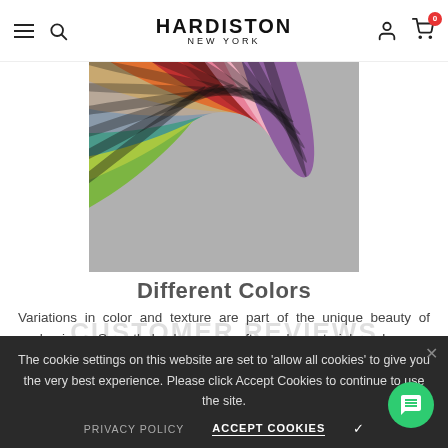HARDISTON NEW YORK
[Figure (photo): Fan arrangement of multiple colorful leather swatches in various colors including green, teal, gray, orange, red, pink, purple, and others, photographed from above]
Different Colors
Variations in color and texture are part of the unique beauty of each piece. Smooth back cover, soft suede material, make your premium phone prominent and different.
The cookie settings on this website are set to 'allow all cookies' to give you the very best experience. Please click Accept Cookies to continue to use the site.
PRIVACY POLICY   ACCEPT COOKIES ✓